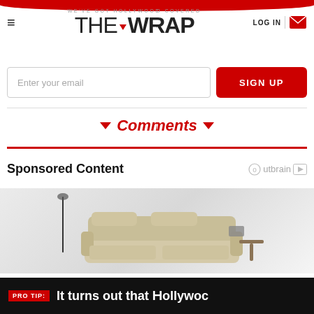WE'VE GOT HOLLYWOOD COVERED — THE WRAP | LOG IN
Enter your email
SIGN UP
▼ Comments ▼
Sponsored Content
[Figure (photo): Recliner sofa/home theater seating advertisement photo]
PRO TIP: It turns out that Hollywoc